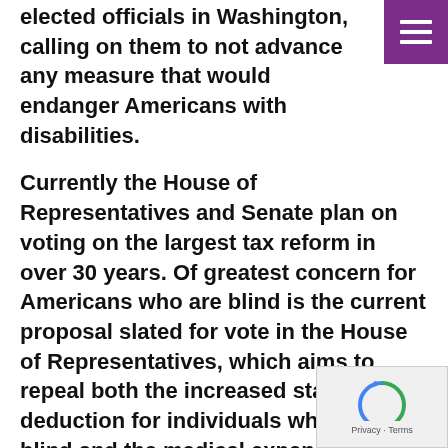elected officials in Washington, calling on them to not advance any measure that would endanger Americans with disabilities.
Currently the House of Representatives and Senate plan on voting on the largest tax reform in over 30 years. Of greatest concern for Americans who are blind is the current proposal slated for vote in the House of Representatives, which aims to repeal both the increased standard deduction for individuals who are blind and the medical expenses deduction. These two deductions take into consideration the additional costs that are often the result of trying to live independently as a person who is blind.
Of greatest concern for Americans who are blind is the current proposal slated for vote this week in the House of Representatives, which aims to repeal both the increased